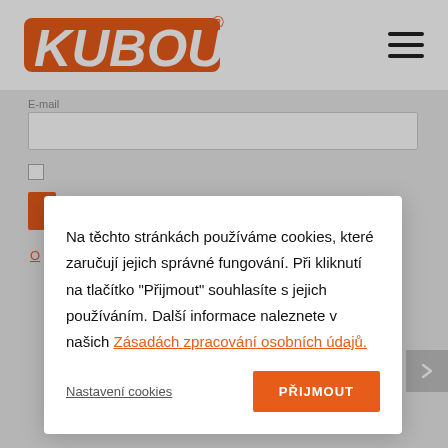[Figure (logo): KUBOUŠEK company logo in orange bold italic text with registered trademark symbol]
E-mail
Na těchto stránkách používáme cookies, které zaručují jejich správné fungování. Při kliknutí na tlačítko "Přijmout" souhlasíte s jejich používáním. Další informace naleznete v našich Zásadách zpracování osobních údajů.
Nastavení cookies
PŘIJMOUT
Developed by Marco BBN © 2022